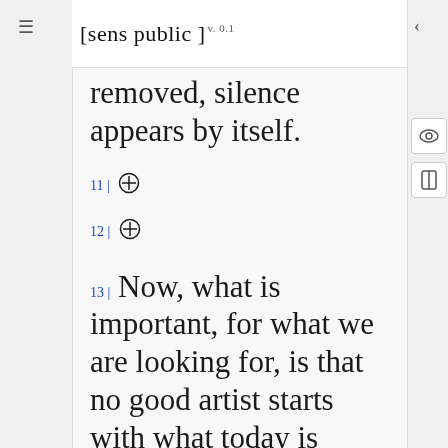[sens public] v. 0.1
removed, silence appears by itself.
11 | ⊕
12 | ⊕
13 | Now, what is important, for what we are looking for, is that no good artist starts with what today is called